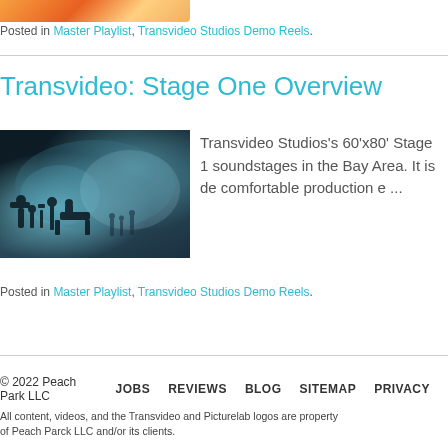[Figure (photo): Partial top image showing warm orange/golden tones, cropped at top of page]
Posted in Master Playlist, Transvideo Studios Demo Reels.
Transvideo: Stage One Overview
[Figure (photo): Dark moody photo of a film production soundstage with camera equipment and silhouettes of crew members against a bright background]
Transvideo Studios's 60'x80' Stage 1 soundstages in the Bay Area. It is de comfortable production e ...
Posted in Master Playlist, Transvideo Studios Demo Reels.
© 2022 Peach Park LLC    JOBS    REVIEWS    BLOG    SITEMAP    PRIVACY
All content, videos, and the Transvideo and Picturelab logos are property of Peach Parck LLC and/or its clients.